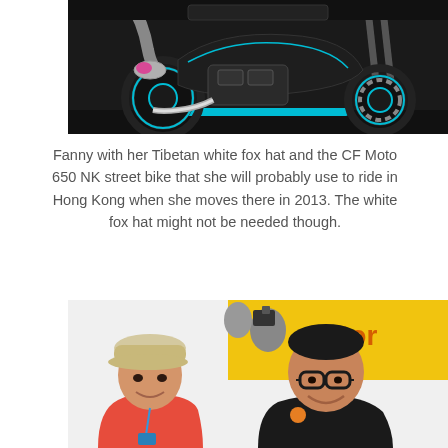[Figure (photo): Close-up photograph of a black CF Moto 650 NK street bike with cyan/blue accent lines, showing engine, exhaust, and front fork. A person's leg with a pink/gray shoe is visible on the left side.]
Fanny with her Tibetan white fox hat and the CF Moto 650 NK street bike that she will probably use to ride in Hong Kong when she moves there in 2013.  The white fox hat might not be needed though.
[Figure (photo): Photograph of two people smiling at the camera at what appears to be a motor show. A woman on the left wearing a beige cap and red top, and a man on the right wearing glasses and a dark jacket. A yellow banner with 'motor' text is visible in the background.]